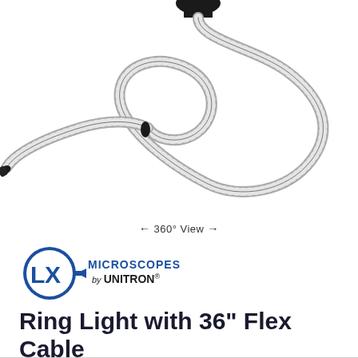[Figure (photo): A ring light with a flexible metallic coiled cable. The cable forms a loop shape. The device has a black attachment at one end. Product is photographed on a white background.]
← 360° View →
[Figure (logo): LX Microscopes by UNITRON logo — blue circular emblem with stylized LX letters, text MICROSCOPES by UNITRON to the right]
Ring Light with 36" Flex Cable